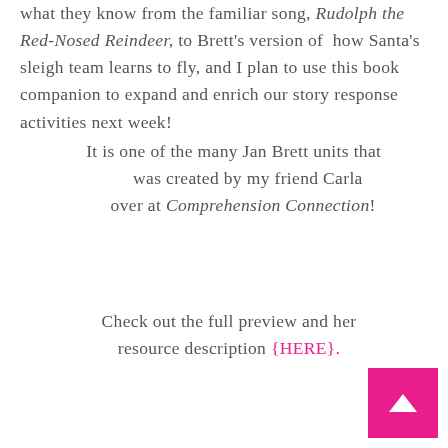what they know from the familiar song, Rudolph the Red-Nosed Reindeer, to Brett's version of how Santa's sleigh team learns to fly, and I plan to use this book companion to expand and enrich our story response activities next week! It is one of the many Jan Brett units that was created by my friend Carla over at Comprehension Connection!
Check out the full preview and her resource description {HERE}.